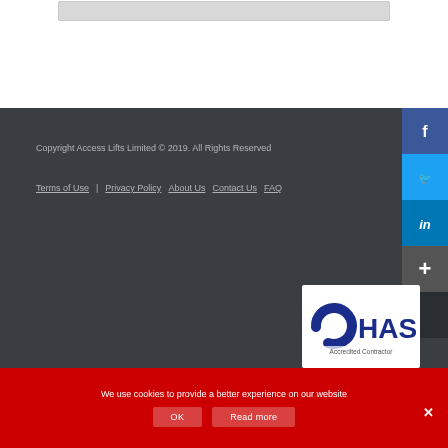[Figure (other): Grey rounded input/search bar at top of page]
Copyright Access Lifts Limited © 2019. All Rights Reserved
Terms of Use   Privacy Policy   About Us   Contact Us   FAQ
[Figure (logo): CHAS (Contractors Health and Safety Assessment Scheme) logo — dark blue circular C with HAS text]
Accredited Contractor
We use cookies to provide a better experience on our website
OK   Read more